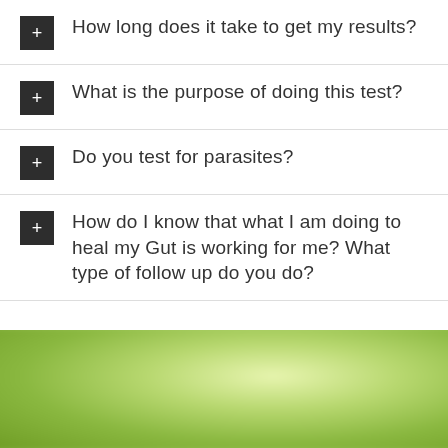How long does it take to get my results?
What is the purpose of doing this test?
Do you test for parasites?
How do I know that what I am doing to heal my Gut is working for me? What type of follow up do you do?
[Figure (photo): Blurred green foliage background photo]